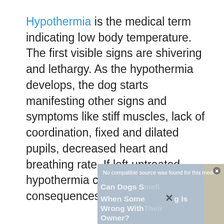Hypothermia is the medical term indicating low body temperature. The first visible signs are shivering and lethargy. As the hypothermia develops, the dog starts manifesting other signs and symptoms like stiff muscles, lack of coordination, fixed and dilated pupils, decreased heart and breathing rate. If left untreated, hypothermia can have lethal consequences.
[Figure (screenshot): Video player screenshot showing 'No compatible source was found for this media.' overlay with a close button, and partially visible text 'Can Dogs Smell When Something Is Wrong With Their Owner?' with an X cursor icon.]